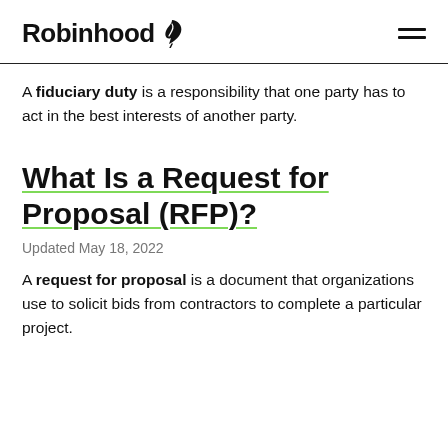Robinhood
A fiduciary duty is a responsibility that one party has to act in the best interests of another party.
What Is a Request for Proposal (RFP)?
Updated May 18, 2022
A request for proposal is a document that organizations use to solicit bids from contractors to complete a particular project.